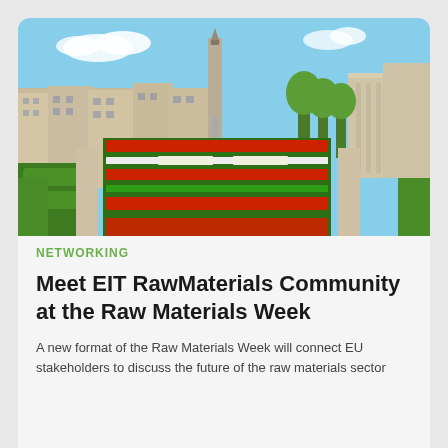[Figure (photo): Aerial view of the Mont des Arts garden in Brussels, Belgium, showing colorful formal gardens with red and green geometric patterns, lined by trimmed hedges and trees, with the Brussels city hall tower and historic buildings in the background under a blue sky.]
NETWORKING
Meet EIT RawMaterials Community at the Raw Materials Week
A new format of the Raw Materials Week will connect EU stakeholders to discuss the future of the raw materials sector